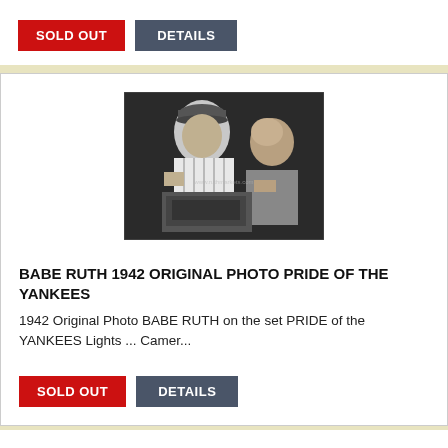SOLD OUT
DETAILS
[Figure (photo): Black and white 1942 original photo of Babe Ruth on the set of Pride of the Yankees, showing two men, one in a Yankees pinstripe uniform and cap, and another bald man beside him, with camera equipment visible and a watermark overlay.]
BABE RUTH 1942 ORIGINAL PHOTO PRIDE OF THE YANKEES
1942 Original Photo BABE RUTH on the set PRIDE of the YANKEES Lights ... Camer...
SOLD OUT
DETAILS